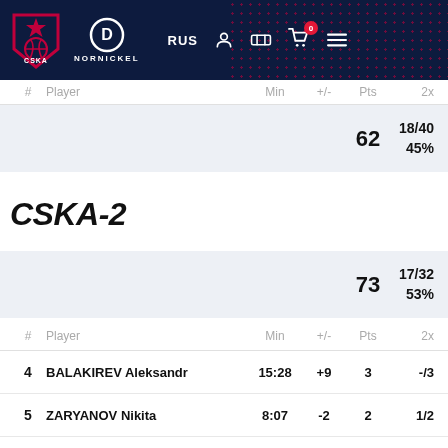CSKA NORNICKEL — RUS
| # | Player | Min | +/- | Pts | 2x |
| --- | --- | --- | --- | --- | --- |
|  |  |  |  | 62 | 18/40
45% |
CSKA-2
| # | Player | Min | +/- | Pts | 2x |
| --- | --- | --- | --- | --- | --- |
|  |  |  |  | 73 | 17/32
53% |
| 4 | BALAKIREV Aleksandr | 15:28 | +9 | 3 | -/3 |
| 5 | ZARYANOV Nikita | 8:07 | -2 | 2 | 1/2 |
| 9 | ZHUL'KOV Sergey | 15:21 | +4 | 1 | -/3 |